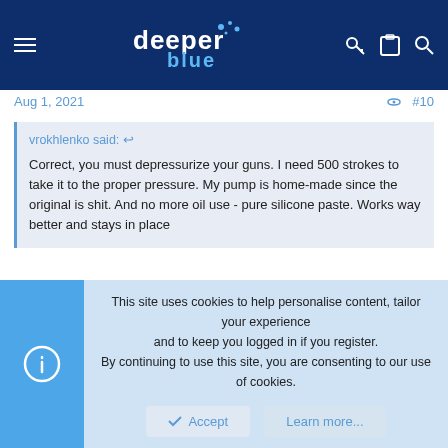deeper blue [website header with logo and navigation icons]
Aug 1, 2021
#10
vrokhlenko said: ↩

Correct, you must depressurize your guns. I need 500 strokes to take it to the proper pressure. My pump is home-made since the original is shit. And no more oil use - pure silicone paste. Works way better and stays in place
How did you make your pump? if I could use a large bicycle pump with gauge it would be faster.
This site uses cookies to help personalise content, tailor your experience and to keep you logged in if you register.
By continuing to use this site, you are consenting to our use of cookies.